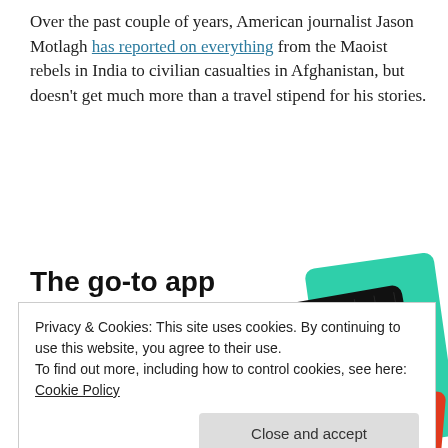Over the past couple of years, American journalist Jason Motlagh has reported on everything from the Maoist rebels in India to civilian casualties in Afghanistan, but doesn't get much more than a travel stipend for his stories.
[Figure (infographic): Advertisement banner for a podcast app. Large bold text reads 'The go-to app for podcast lovers.' with a red 'Download now' link. On the right side are overlapping app UI cards including a black card with yellow grid pattern showing '99% INVISIBLE' text and a yellow square, and a teal/green card partially visible.]
Privacy & Cookies: This site uses cookies. By continuing to use this website, you agree to their use.
To find out more, including how to control cookies, see here: Cookie Policy
Close and accept